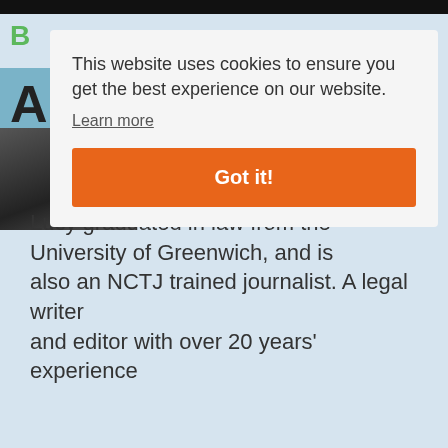[Figure (screenshot): Website screenshot showing a cookie consent overlay on a legal website. Background shows partial page with green logo letter, blue header bar, partial large 'A' heading, a person's photo thumbnail, and body text reading 'Lucy graduated in law from the University of Greenwich, and is also an NCTJ trained journalist. A legal writer and editor with over 20 years' experience'. Foreground overlay contains cookie consent message, Learn more link, and orange Got it! button.]
This website uses cookies to ensure you get the best experience on our website.
Learn more
Got it!
Lucy graduated in law from the University of Greenwich, and is also an NCTJ trained journalist. A legal writer and editor with over 20 years' experience